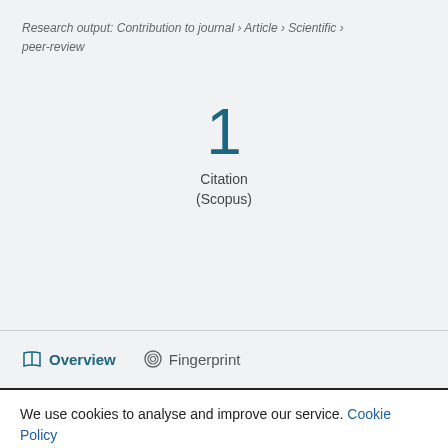Research output: Contribution to journal › Article › Scientific › peer-review
1
Citation
(Scopus)
Overview   Fingerprint
We use cookies to analyse and improve our service. Cookie Policy